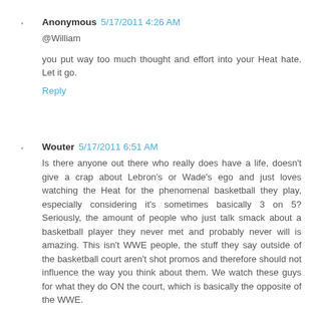Anonymous 5/17/2011 4:26 AM
@William
you put way too much thought and effort into your Heat hate. Let it go.
Reply
Wouter 5/17/2011 6:51 AM
Is there anyone out there who really does have a life, doesn't give a crap about Lebron's or Wade's ego and just loves watching the Heat for the phenomenal basketball they play, especially considering it's sometimes basically 3 on 5? Seriously, the amount of people who just talk smack about a basketball player they never met and probably never will is amazing. This isn't WWE people, the stuff they say outside of the basketball court aren't shot promos and therefore should not influence the way you think about them. We watch these guys for what they do ON the court, which is basically the opposite of the WWE.